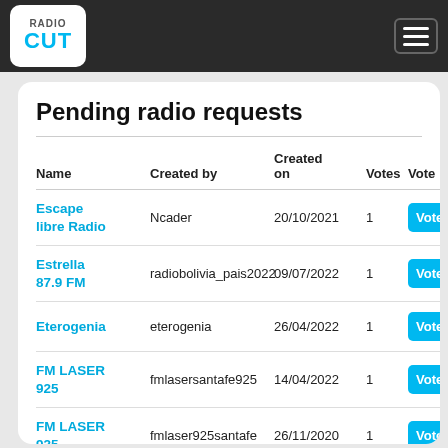RadioCut
Pending radio requests
| Name | Created by | Created on | Votes | Vote |
| --- | --- | --- | --- | --- |
| Escape libre Radio | Ncader | 20/10/2021 | 1 | Vote |
| Estrella 87.9 FM | radiobolivia_pais2022 | 09/07/2022 | 1 | Vote |
| Eterogenia | eterogenia | 26/04/2022 | 1 | Vote |
| FM LASER 925 | fmlasersantafe925 | 14/04/2022 | 1 | Vote |
| FM LASER 925 | fmlaser925santafe | 26/11/2020 | 1 | Vote |